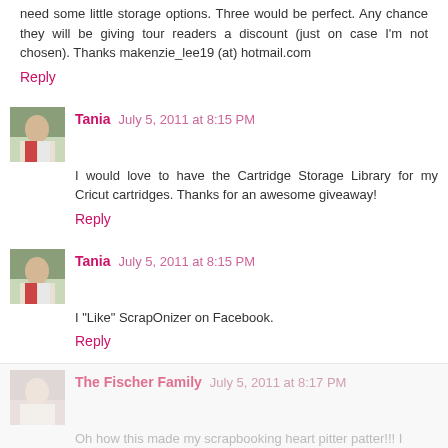need some little storage options. Three would be perfect. Any chance they will be giving tour readers a discount (just on case I'm not chosen). Thanks makenzie_lee19 (at) hotmail.com
Reply
Tania July 5, 2011 at 8:15 PM
I would love to have the Cartridge Storage Library for my Cricut cartridges. Thanks for an awesome giveaway!
Reply
Tania July 5, 2011 at 8:15 PM
I "Like" ScrapOnizer on Facebook.
Reply
The Fischer Family July 5, 2011 at 8:17 PM
Oh how this made my scrapbooking heart pitter patter!!! I